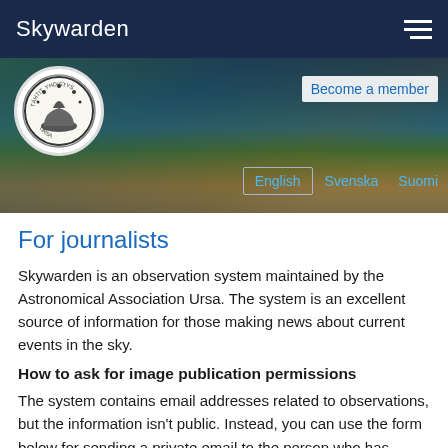Skywarden
[Figure (screenshot): Website header banner showing aurora/sky background with Ursa astronomical association logo, 'Become a member' link, and language tabs: English, Svenska, Suomi]
For journalists
Skywarden is an observation system maintained by the Astronomical Association Ursa. The system is an excellent source of information for those making news about current events in the sky.
How to ask for image publication permissions
The system contains email addresses related to observations, but the information isn't public. Instead, you can use the form below for sending a private email to the person who has made the observation you are interested in. A typical use case for the form is a request for an interview.